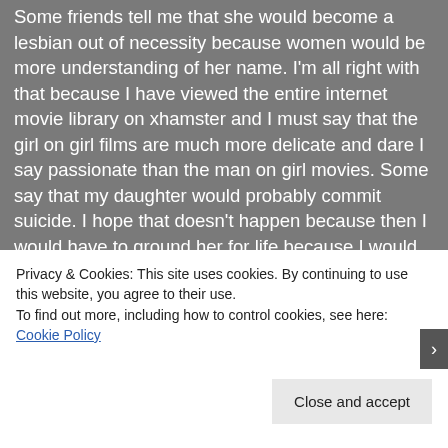Some friends tell me that she would become a lesbian out of necessity because women would be more understanding of her name. I'm all right with that because I have viewed the entire internet movie library on xhamster and I must say that the girl on girl films are much more delicate and dare I say passionate than the man on girl movies. Some say that my daughter would probably commit suicide. I hope that doesn't happen because then I would have to ground her for life because I would never let my daughter date a necrophiliac, let alone a necrophiliac that chases preggers. I've also seen the necrophilia pregnant jailbait movies on xhamster and there is no way in hell that any daughter of mine is getting wrapped up in something that kinky and downright amazing. Guys
Privacy & Cookies: This site uses cookies. By continuing to use this website, you agree to their use.
To find out more, including how to control cookies, see here: Cookie Policy